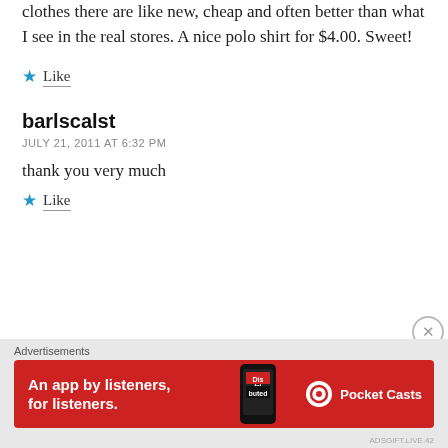clothes there are like new, cheap and often better than what I see in the real stores. A nice polo shirt for $4.00. Sweet!
Like
barlscalst
JULY 21, 2011 AT 6:32 PM
thank you very much
Like
Advertisements
[Figure (screenshot): Pocket Casts advertisement banner: red background with text 'An app by listeners, for listeners.' and Pocket Casts logo, with a smartphone image in the center.]